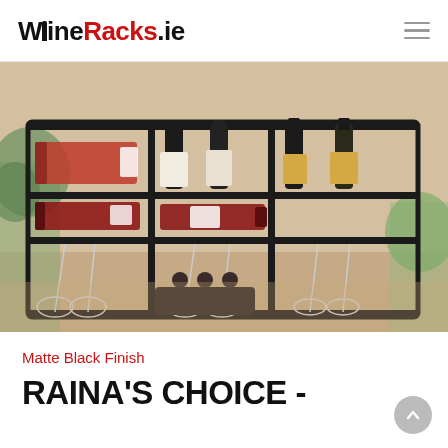WineRacks.ie
[Figure (photo): A wall-mounted matte black wine rack filled with wine bottles and hanging wine glasses, with potted green plants on either side, mounted on a white wall above a small dark wooden table with candle holders.]
Matte Black Finish
RAINA'S CHOICE -